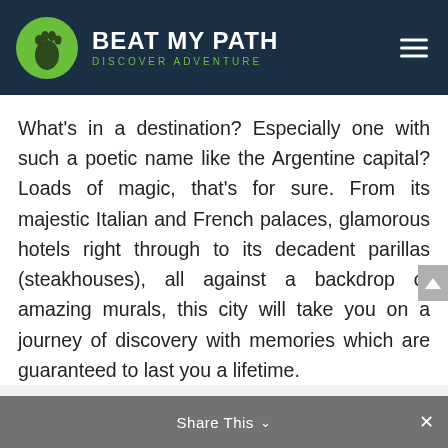BEAT MY PATH — DISCOVER ADVENTURE
What's in a destination? Especially one with such a poetic name like the Argentine capital? Loads of magic, that's for sure. From its majestic Italian and French palaces, glamorous hotels right through to its decadent parillas (steakhouses), all against a backdrop of amazing murals, this city will take you on a journey of discovery with memories which are guaranteed to last you a lifetime.
Located on Argentina's north-eastern shore, the city of Fair Winds, lies just tucked
Share This